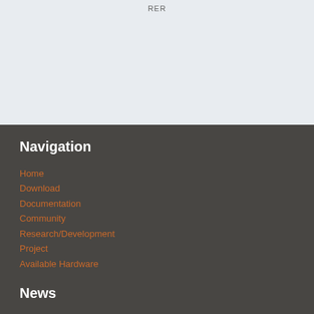RER
Navigation
Home
Download
Documentation
Community
Research/Development
Project
Available Hardware
News